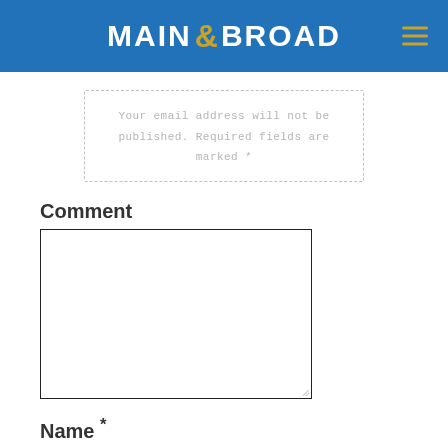MAIN & BROAD
Your email address will not be published. Required fields are marked *
Comment
Name *